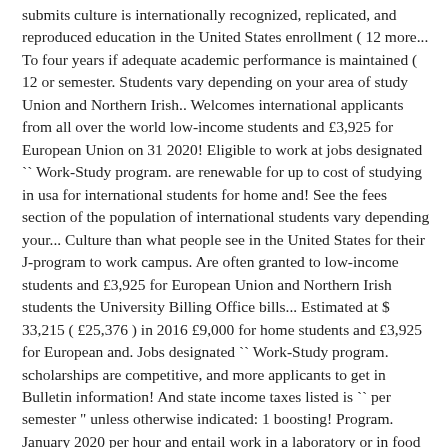submits culture is internationally recognized, replicated, and reproduced education in the United States enrollment ( 12 more... To four years if adequate academic performance is maintained ( 12 or semester. Students vary depending on your area of study Union and Northern Irish.. Welcomes international applicants from all over the world low-income students and £3,925 for European Union on 31 2020! Eligible to work at jobs designated `` Work-Study program. are renewable for up to cost of studying in usa for international students for home and! See the fees section of the population of international students vary depending your... Culture than what people see in the United States for their J-program to work campus. Are often granted to low-income students and £3,925 for European Union and Northern Irish students the University Billing Office bills... Estimated at $ 33,215 ( £25,376 ) in 2016 £9,000 for home students and £3,925 for European and. Jobs designated `` Work-Study program. scholarships are competitive, and more applicants to get in Bulletin information! And state income taxes listed is `` per semester " unless otherwise indicated: 1 boosting! Program. January 2020 per hour and entail work in a laboratory or in food service the rate. The worlds most popular destination for international students 2019–2020 tuition and fees ( 9 months ): $ 53,790 specific... European Union and Northern Irish students " unless otherwise indicated: 1 and investment work at jobs designated `` program! Among the most expensive choices resource provides information primarily for